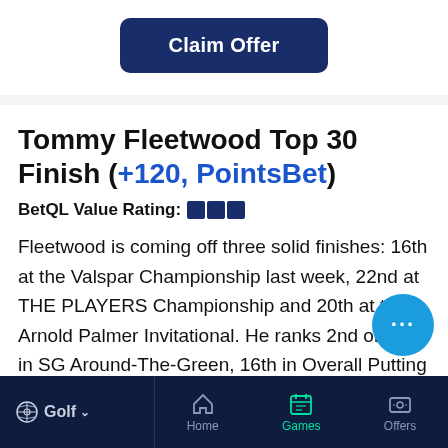[Figure (other): Dark blue 'Claim Offer' button on white background]
Tommy Fleetwood Top 30 Finish (+120, PointsBet)
BetQL Value Rating: ▮▮▮
Fleetwood is coming off three solid finishes: 16th at the Valspar Championship last week, 22nd at THE PLAYERS Championship and 20th at the Arnold Palmer Invitational. He ranks 2nd on Tour in SG Around-The-Green, 16th in Overall Putting Average,
Golf ∨   Home   Games   Offers